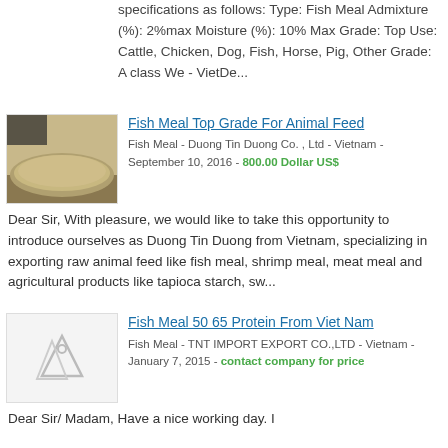specifications as follows: Type: Fish Meal Admixture (%): 2%max Moisture (%): 10% Max Grade: Top Use: Cattle, Chicken, Dog, Fish, Horse, Pig, Other Grade: A class We - VietDe...
[Figure (photo): Photo of fish meal powder, brownish-tan pile on a surface]
Fish Meal Top Grade For Animal Feed
Fish Meal - Duong Tin Duong Co. , Ltd - Vietnam - September 10, 2016 - 800.00 Dollar US$
Dear Sir, With pleasure, we would like to take this opportunity to introduce ourselves as Duong Tin Duong from Vietnam, specializing in exporting raw animal feed like fish meal, shrimp meal, meat meal and agricultural products like tapioca starch, sw...
[Figure (photo): Placeholder image icon for Fish Meal 50 65 Protein From Viet Nam listing]
Fish Meal 50 65 Protein From Viet Nam
Fish Meal - TNT IMPORT EXPORT CO.,LTD - Vietnam - January 7, 2015 - contact company for price
Dear Sir/ Madam, Have a nice working day. I